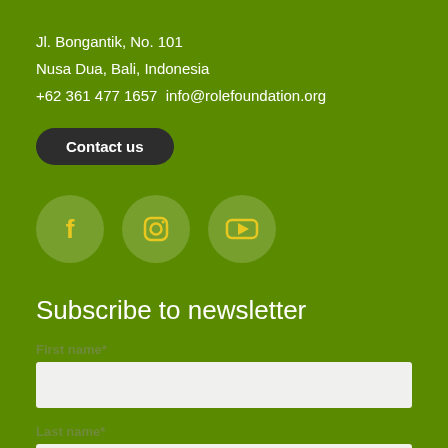Jl. Bongantik, No. 101
Nusa Dua, Bali, Indonesia
+62 361 477 1657  info@rolefoundation.org
Contact us
[Figure (illustration): Social media icons: Facebook, Instagram, YouTube in yellow on semi-transparent green circles]
Subscribe to newsletter
First name*
Last name*